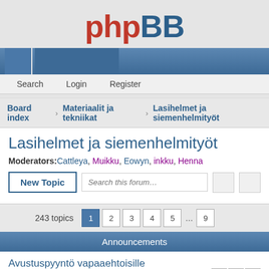[Figure (logo): phpBB logo with 'php' in red and 'BB' in dark blue, bold large text]
[Figure (screenshot): Blue navigation bar with small square tabs]
Search   Login   Register
Board index   Materiaalit ja tekniikat   Lasihelmet ja siemenhelmityöt
Lasihelmet ja siemenhelmityöt
Moderators: Cattleya, Muikku, Eowyn, inkku, Henna
New Topic   Search this forum...
243 topics   1 2 3 4 5 ... 9
Announcements
Avustuspyyntö vapaaehtoisille
Last post by Eowyn « Sun Nov 29, 2015 17:12
Posted in Shoppailu
Replies: 31
Topics